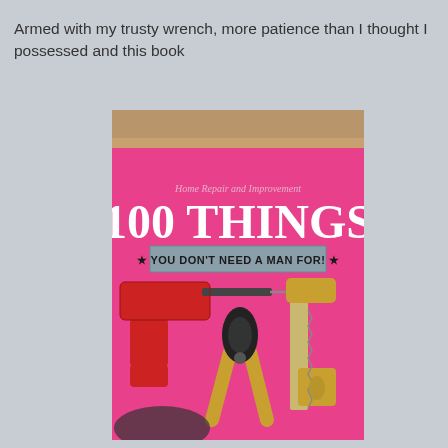Armed with my trusty wrench, more patience than I thought I possessed and this book
[Figure (photo): Photo of a pink book cover titled 'Home Repair and Improvement: 100 THINGS YOU DON'T NEED A MAN FOR!' with images of tools including a red power drill, pliers, and a handsaw on a pink background.]